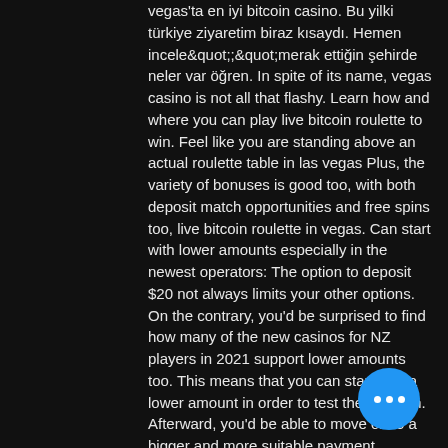vegas'ta en iyi bitcoin casino. Bu yilki türkiye ziyaretim biraz kisaydi. Hemen incele&quot;;&quot;merak ettiğin şehirde neler var öğren. In spite of its name, vegas casino is not all that flashy. Learn how and where you can play live bitcoin roulette to win. Feel like you are standing above an actual roulette table in las vegas Plus, the variety of bonuses is good too, with both deposit match opportunities and free spins too, live bitcoin roulette in vegas. Can start with lower amounts especially in the newest operators: The option to deposit $20 not always limits your other options. On the contrary, you'd be surprised to find how many of the new casinos for NZ players in 2021 support lower amounts too. This means that you can start with a lower amount in order to test the platform. Afterward, you'd be able to move on to a bigger and more suitable payment.